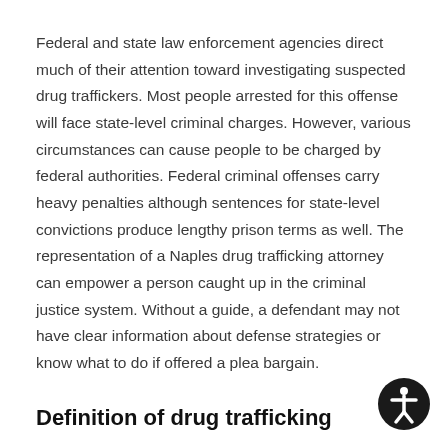Federal and state law enforcement agencies direct much of their attention toward investigating suspected drug traffickers. Most people arrested for this offense will face state-level criminal charges. However, various circumstances can cause people to be charged by federal authorities. Federal criminal offenses carry heavy penalties although sentences for state-level convictions produce lengthy prison terms as well. The representation of a Naples drug trafficking attorney can empower a person caught up in the criminal justice system. Without a guide, a defendant may not have clear information about defense strategies or know what to do if offered a plea bargain.
Definition of drug trafficking
Drug trafficking is a more serious offense than drug possession because it involves drug distribution. Evidence